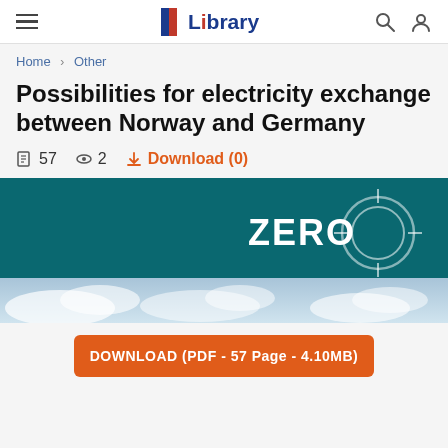Library
Home > Other
Possibilities for electricity exchange between Norway and Germany
57  2  Download (0)
[Figure (logo): ZERO organization logo on teal background with sky/clouds below]
DOWNLOAD (PDF - 57 Page - 4.10MB)